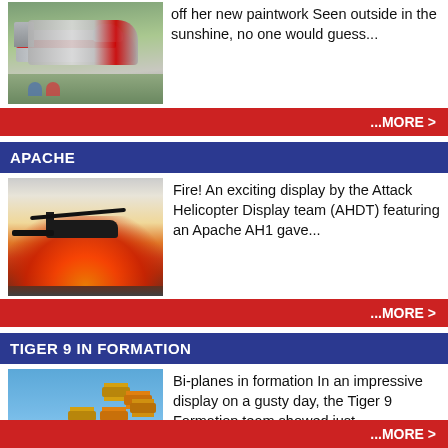[Figure (photo): A jet aircraft with red and grey paintwork on display outside, with people seated nearby in the background on green grass.]
off her new paintwork Seen outside in the sunshine, no one would guess...
...MORE >
APACHE
[Figure (photo): An Apache AH1 attack helicopter silhouetted against a large explosion of fire and smoke during an airshow display.]
Fire! An exciting display by the Attack Helicopter Display team (AHDT) featuring an Apache AH1 gave...
...MORE >
TIGER 9 IN FORMATION
[Figure (photo): Nine Tiger Moth bi-planes flying in formation against a blue sky during an airshow display.]
Bi-planes in formation In an impressive display on a gusty day, the Tiger 9 Formation team showed just...
...MORE >